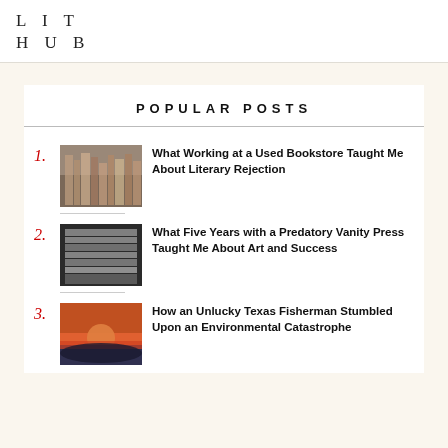LIT HUB
POPULAR POSTS
1. What Working at a Used Bookstore Taught Me About Literary Rejection
2. What Five Years with a Predatory Vanity Press Taught Me About Art and Success
3. How an Unlucky Texas Fisherman Stumbled Upon an Environmental Catastrophe